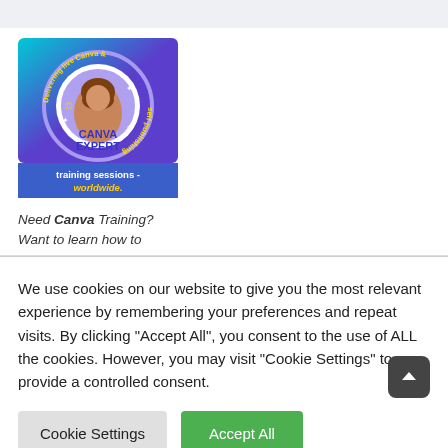[Figure (illustration): Canva Expert badge: circular logo with woman photo in center, text 'Delivering live Canva & self-publishing' around the circle, 'CANVA EXPERT' in center, gradient blue-purple background, 'training sessions - worldwide.' text below in white and yellow on blue background.]
Need Canva Training? Want to learn how to
We use cookies on our website to give you the most relevant experience by remembering your preferences and repeat visits. By clicking “Accept All”, you consent to the use of ALL the cookies. However, you may visit "Cookie Settings" to provide a controlled consent.